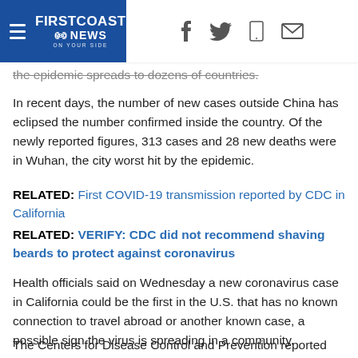FIRSTCOAST NEWS - ON YOUR SIDE
the epidemic spreads to dozens of countries.
In recent days, the number of new cases outside China has eclipsed the number confirmed inside the country. Of the newly reported figures, 313 cases and 28 new deaths were in Wuhan, the city worst hit by the epidemic.
RELATED: First COVID-19 transmission reported by CDC in California
RELATED: VERIFY: CDC did not recommend shaving beards to protect against coronavirus
Health officials said on Wednesday a new coronavirus case in California could be the first in the U.S. that has no known connection to travel abroad or another known case, a possible sign the virus is spreading in a community.
The Centers for Disease Control and Prevention reported the case Wednesday night.